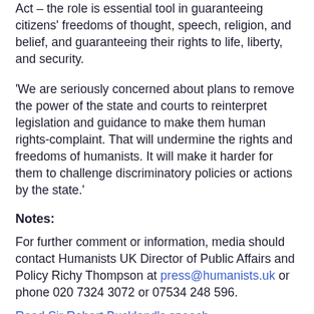Act – the role is essential tool in guaranteeing citizens' freedoms of thought, speech, religion, and belief, and guaranteeing their rights to life, liberty, and security.
'We are seriously concerned about plans to remove the power of the state and courts to reinterpret legislation and guidance to make them human rights-complaint. That will undermine the rights and freedoms of humanists. It will make it harder for them to challenge discriminatory policies or actions by the state.'
Notes:
For further comment or information, media should contact Humanists UK Director of Public Affairs and Policy Richy Thompson at press@humanists.uk or phone 020 7324 3072 or 07534 248 596.
Read Sir Robert Buckland's speech.